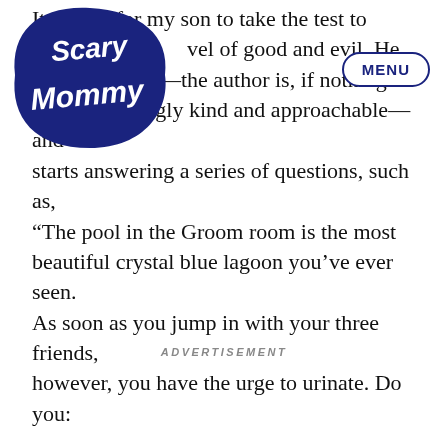[Figure (logo): Scary Mommy logo — dark navy blue swirling text logo with 'Scary Mommy' in decorative script]
It is time for my son to take the test to level of good and evil. He lap—the author is, if nothing else, exceedingly kind and approachable—and starts answering a series of questions, such as, “The pool in the Groom room is the most beautiful crystal blue lagoon you’ve ever seen. As soon as you jump in with your three friends, however, you have the urge to urinate. Do you:
ADVERTISEMENT